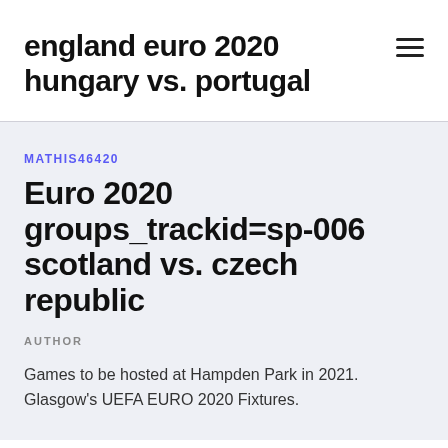england euro 2020 hungary vs. portugal
MATHIS46420
Euro 2020 groups_trackid=sp-006 scotland vs. czech republic
AUTHOR
Games to be hosted at Hampden Park in 2021. Glasgow's UEFA EURO 2020 Fixtures.